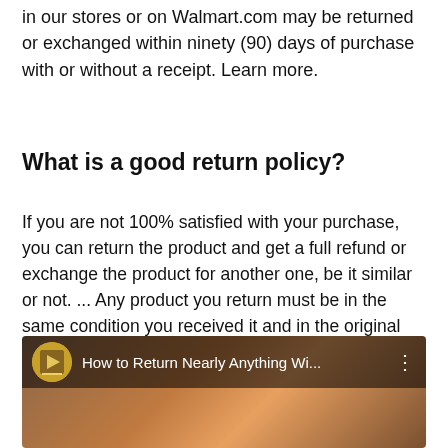in our stores or on Walmart.com may be returned or exchanged within ninety (90) days of purchase with or without a receipt. Learn more.
What is a good return policy?
If you are not 100% satisfied with your purchase, you can return the product and get a full refund or exchange the product for another one, be it similar or not. ... Any product you return must be in the same condition you received it and in the original packaging. Please keep the receipt.
[Figure (screenshot): Video thumbnail showing 'How to Return Nearly Anything Wi...' with a circular logo icon on the left and a three-dot menu on the right, overlaid on a product/store image background.]